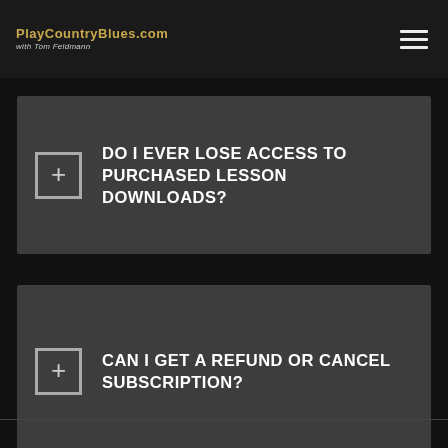PlayCountryBlues.com with Tom Feldmann
DO I EVER LOSE ACCESS TO PURCHASED LESSON DOWNLOADS?
CAN I GET A REFUND OR CANCEL SUBSCRIPTION?